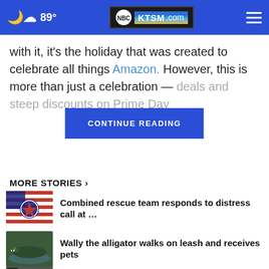89° | KTSM.com
with it, it's the holiday that was created to celebrate all things Amazon. However, this is more than just a celebration — [CONTINUE READING] deals and steep discounts on Prime Day
MORE STORIES ›
Combined rescue team responds to distress call at …
Wally the alligator walks on leash and receives pets
Sen. Schumer discusses staffing on student loan providers